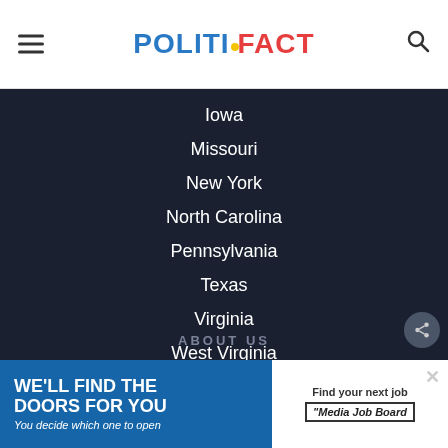POLITIFACT
Iowa
Missouri
New York
North Carolina
Pennsylvania
Texas
Virginia
West Virginia
Vermont
Wisconsin
Michigan
ABOUT US
[Figure (other): Advertisement banner: 'WE'LL FIND THE DOORS FOR YOU – You decide which one to open' with Media Job Board logo]